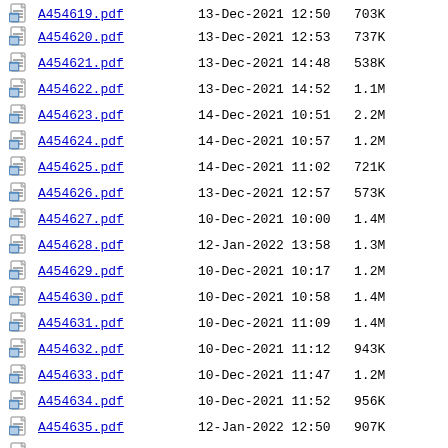A454619.pdf  13-Dec-2021 12:50  703K
A454620.pdf  13-Dec-2021 12:53  737K
A454621.pdf  13-Dec-2021 14:48  538K
A454622.pdf  13-Dec-2021 14:52  1.1M
A454623.pdf  14-Dec-2021 10:51  2.2M
A454624.pdf  14-Dec-2021 10:57  1.2M
A454625.pdf  14-Dec-2021 11:02  721K
A454626.pdf  13-Dec-2021 12:57  573K
A454627.pdf  10-Dec-2021 10:00  1.4M
A454628.pdf  12-Jan-2022 13:58  1.3M
A454629.pdf  10-Dec-2021 10:17  1.2M
A454630.pdf  10-Dec-2021 10:58  1.4M
A454631.pdf  10-Dec-2021 11:09  1.4M
A454632.pdf  10-Dec-2021 11:12  943K
A454633.pdf  10-Dec-2021 11:47  1.2M
A454634.pdf  10-Dec-2021 11:52  956K
A454635.pdf  12-Jan-2022 12:50  907K
A454636.pdf  12-Jan-2022 14:34  862K